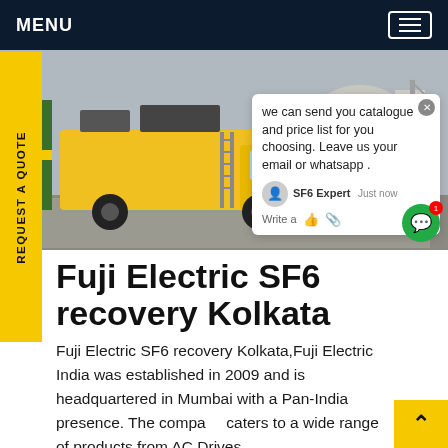MENU
[Figure (photo): Yellow SF6 recovery truck parked at an industrial/electrical facility with large cylindrical tanks and scaffolding in the background. A chat popup overlay is visible on the right side of the image.]
Fuji Electric SF6 recovery Kolkata
Fuji Electric SF6 recovery Kolkata,Fuji Electric India was established in 2009 and is headquartered in Mumbai with a Pan-India presence. The company caters to a wide range of products from AC Drives,